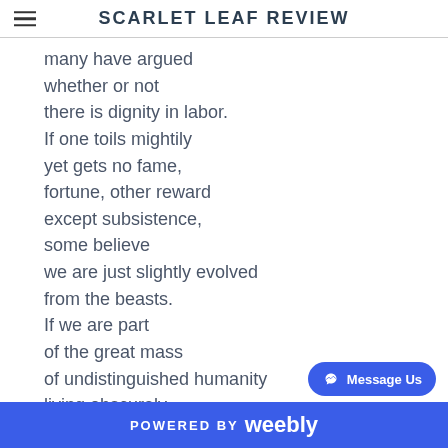SCARLET LEAF REVIEW
many have argued
whether or not
there is dignity in labor.
If one toils mightily
yet gets no fame,
fortune, other reward
except subsistence,
some believe
we are just slightly evolved
from the beasts.
If we are part
of the great mass
of undistinguished humanity
living obscurely
by the sweat of effort,
many more fed
it is insufficient
to justify the purpose
POWERED BY weebly